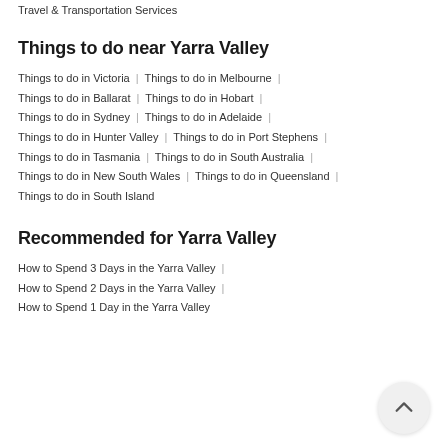Travel & Transportation Services
Things to do near Yarra Valley
Things to do in Victoria | Things to do in Melbourne | Things to do in Ballarat | Things to do in Hobart | Things to do in Sydney | Things to do in Adelaide | Things to do in Hunter Valley | Things to do in Port Stephens | Things to do in Tasmania | Things to do in South Australia | Things to do in New South Wales | Things to do in Queensland | Things to do in South Island
Recommended for Yarra Valley
How to Spend 3 Days in the Yarra Valley | How to Spend 2 Days in the Yarra Valley | How to Spend 1 Day in the Yarra Valley